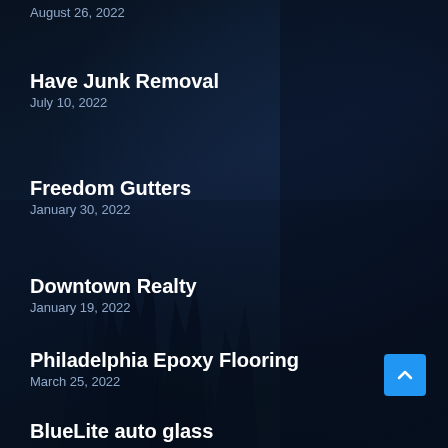August 26, 2022
Have Junk Removal
July 10, 2022
Freedom Gutters
January 30, 2022
Downtown Realty
January 19, 2022
Philadelphia Epoxy Flooring
March 25, 2022
BlueLite auto glass
November 23, 2021